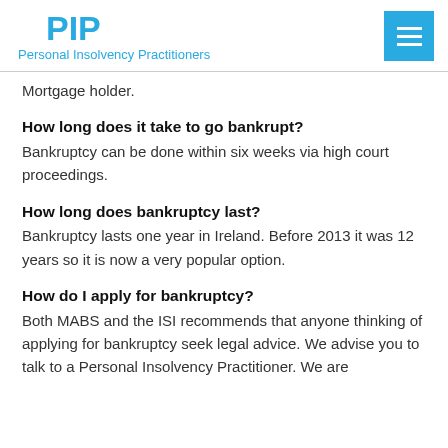PIP Personal Insolvency Practitioners
Mortgage holder.
How long does it take to go bankrupt?
Bankruptcy can be done within six weeks via high court proceedings.
How long does bankruptcy last?
Bankruptcy lasts one year in Ireland. Before 2013 it was 12 years so it is now a very popular option.
How do I apply for bankruptcy?
Both MABS and the ISI recommends that anyone thinking of applying for bankruptcy seek legal advice. We advise you to talk to a Personal Insolvency Practitioner. We are